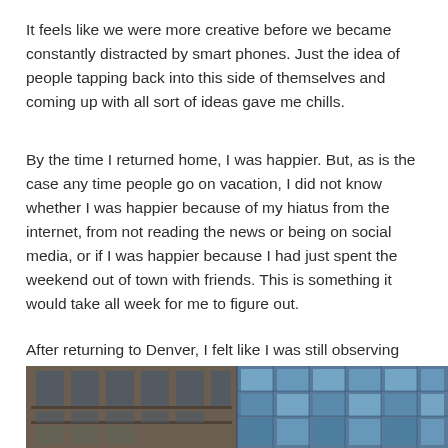It feels like we were more creative before we became constantly distracted by smart phones. Just the idea of people tapping back into this side of themselves and coming up with all sort of ideas gave me chills.
By the time I returned home, I was happier. But, as is the case any time people go on vacation, I did not know whether I was happier because of my hiatus from the internet, from not reading the news or being on social media, or if I was happier because I had just spent the weekend out of town with friends. This is something it would take all week for me to figure out.
After returning to Denver, I felt like I was still observing more than before.
[Figure (photo): Photo of urban buildings in Denver — left side shows a brick/dark building with balconies and glass windows; right side shows a modern glass-facade building reflecting blue sky.]